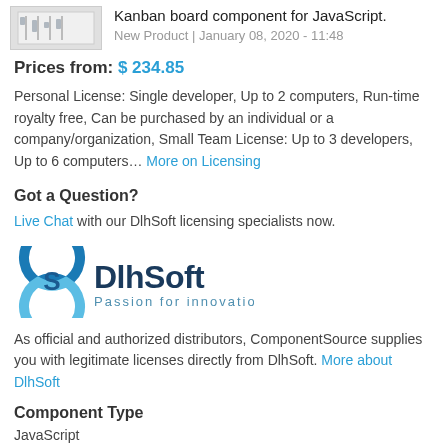Kanban board component for JavaScript. New Product | January 08, 2020 - 11:48
Prices from: $ 234.85
Personal License: Single developer, Up to 2 computers, Run-time royalty free, Can be purchased by an individual or a company/organization, Small Team License: Up to 3 developers, Up to 6 computers... More on Licensing
Got a Question?
Live Chat with our DlhSoft licensing specialists now.
[Figure (logo): DlhSoft logo with text 'Passion for innovation']
As official and authorized distributors, ComponentSource supplies you with legitimate licenses directly from DlhSoft. More about DlhSoft
Component Type
JavaScript